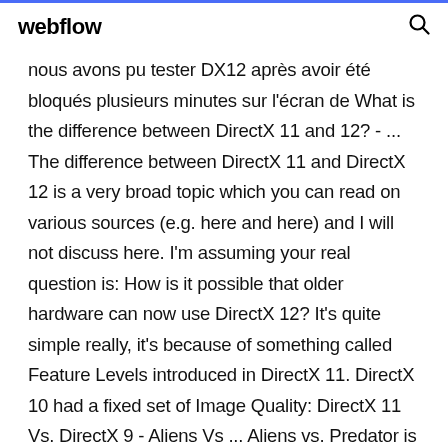webflow
nous avons pu tester DX12 après avoir été bloqués plusieurs minutes sur l'écran de What is the difference between DirectX 11 and 12? - ... The difference between DirectX 11 and DirectX 12 is a very broad topic which you can read on various sources (e.g. here and here) and I will not discuss here. I'm assuming your real question is: How is it possible that older hardware can now use DirectX 12? It's quite simple really, it's because of something called Feature Levels introduced in DirectX 11. DirectX 10 had a fixed set of Image Quality: DirectX 11 Vs. DirectX 9 - Aliens Vs ... Aliens vs. Predator is the latest DirectX 11-enabled first-person